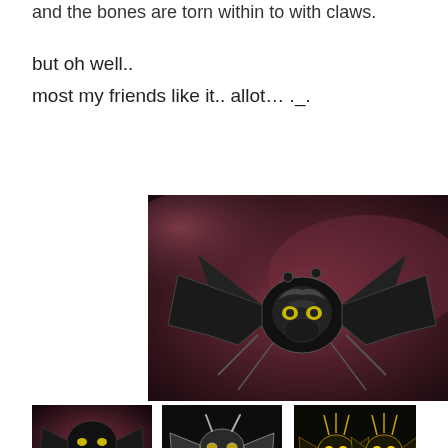but oh well..
most my friends like it.. allot…  ._.
[Figure (photo): Dark fantasy creature resembling a bat-like monster with glowing yellow eyes, black and grey patterned body, spread wings with claws, against a dark reddish background. The creature appears to be a model or figurine.]
[Figure (photo): Small dark bat-like creature figurine facing slightly left, dark reddish background.]
[Figure (photo): Silver/metallic bat-like creature figurine on dark background.]
[Figure (photo): Two golden/yellow bat-like creature figurines side by side on dark background.]